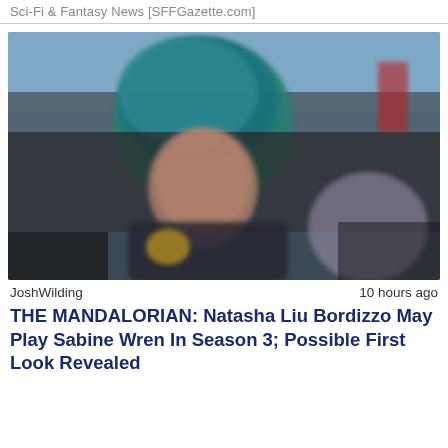Sci-Fi & Fantasy News [SFFGazette.com]
[Figure (photo): Blurred photo of a person with blue-green hair, appearing to be a cosplayer or character portrayal, possibly Sabine Wren from The Mandalorian. Background shows outdoor scene with vehicles or structures.]
JoshWilding   10 hours ago
THE MANDALORIAN: Natasha Liu Bordizzo May Play Sabine Wren In Season 3; Possible First Look Revealed